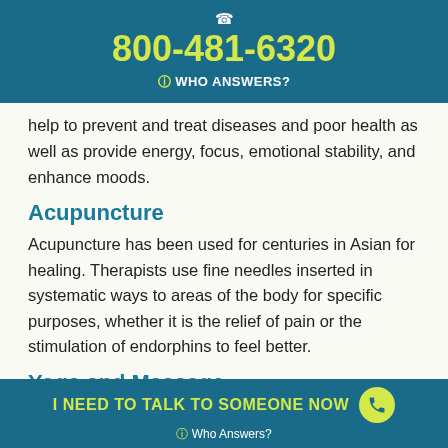800-481-6320 WHO ANSWERS?
help to prevent and treat diseases and poor health as well as provide energy, focus, emotional stability, and enhance moods.
Acupuncture
Acupuncture has been used for centuries in Asian for healing. Therapists use fine needles inserted in systematic ways to areas of the body for specific purposes, whether it is the relief of pain or the stimulation of endorphins to feel better.
Yoga and Massage
I NEED TO TALK TO SOMEONE NOW Who Answers?